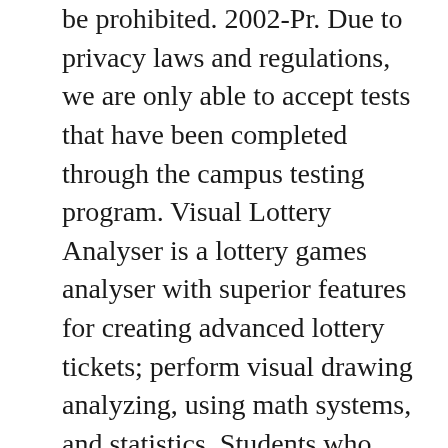be prohibited. 2002-Pr. Due to privacy laws and regulations, we are only able to accept tests that have been completed through the campus testing program. Visual Lottery Analyser is a lottery games analyser with superior features for creating advanced lottery tickets; perform visual drawing analyzing, using math systems, and statistics. Students who already have a positive COVID-19 test result on file with the university but are no longer positive and have been officially cleared to be on campus are not required to test again to be eligible for football tickets. Please make sure to verify that all of the information in the application is updated ... Movies, karaoke, concerts, comedians, games, and more are all available free of charge to FSU students during the first week of each session. FSU Fund Structure Fund accounting is a system of accounting that